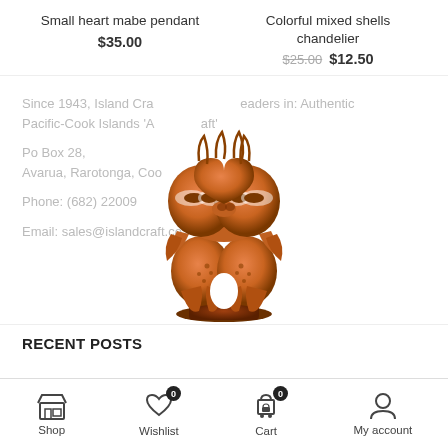Small heart mabe pendant
$35.00
Colorful mixed shells chandelier
$25.00 $12.50
[Figure (illustration): Decorative copper/bronze colored Tiki figurine showing two stylized face-to-face figures with ornate carved details]
Since 1943, Island Craft leaders in: Authentic Pacific-Cook Islands 'Art craft'
Po Box 28, Avarua, Rarotonga, Cook Islands
Phone: (682) 22009
Email: sales@islandcraft.co
RECENT POSTS
Shop | Wishlist 0 | Cart 0 | My account